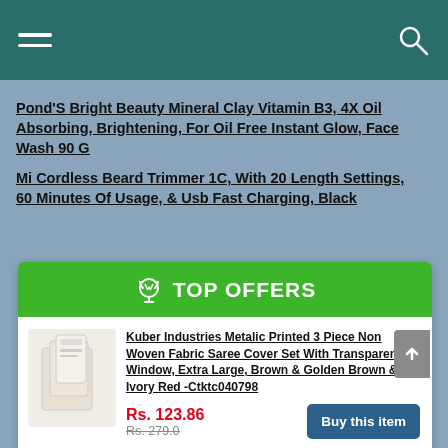Navigation bar with hamburger menu and search icon
Pond'S Bright Beauty Mineral Clay Vitamin B3, 4X Oil Absorbing, Brightening, For Oil Free Instant Glow, Face Wash 90 G
Mi Cordless Beard Trimmer 1C, With 20 Length Settings, 60 Minutes Of Usage, & Usb Fast Charging, Black
TOP OFFERS
Kuber Industries Metalic Printed 3 Piece Non Woven Fabric Saree Cover Set With Transparent Window, Extra Large, Brown & Golden Brown & Ivory Red -Ctktc040798
Rs. 123.86
Rs. 279.0
Buy this item
Colgate Maxfresh Breath Freshener